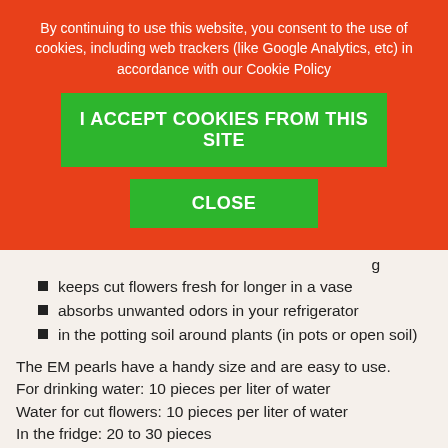By continuing to use this website, you consent to the use of cookies, including web trackers (like Google Analytics, etc) in accordance with our Cookie Policy
I ACCEPT COOKIES FROM THIS SITE
CLOSE
keeps cut flowers fresh for longer in a vase
absorbs unwanted odors in your refrigerator
in the potting soil around plants (in pots or open soil)
The EM pearls have a handy size and are easy to use.
For drinking water: 10 pieces per liter of water
Water for cut flowers: 10 pieces per liter of water
In the fridge: 20 to 30 pieces
These recommended amounts are given as an indication and can be increased or decreased without risk.